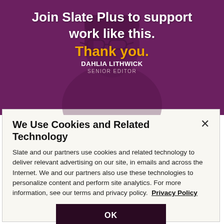[Figure (photo): Purple-tinted background with a woman wearing glasses (Dahlia Lithwick) overlaid with text about Slate Plus membership]
Join Slate Plus to support work like this.
Thank you.
DAHLIA LITHWICK
SENIOR EDITOR
We Use Cookies and Related Technology
Slate and our partners use cookies and related technology to deliver relevant advertising on our site, in emails and across the Internet. We and our partners also use these technologies to personalize content and perform site analytics. For more information, see our terms and privacy policy.  Privacy Policy
OK